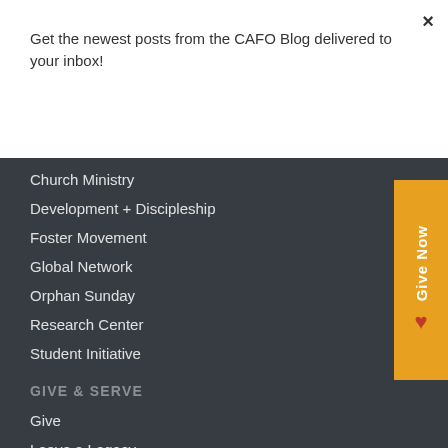×
Get the newest posts from the CAFO Blog delivered to your inbox!
Subscribe
Church Ministry
Development + Discipleship
Foster Movement
Global Network
Orphan Sunday
Research Center
Student Initiative
GIVE & SERVE
Give
Leave a Legacy
In-Kind Giving
Internships